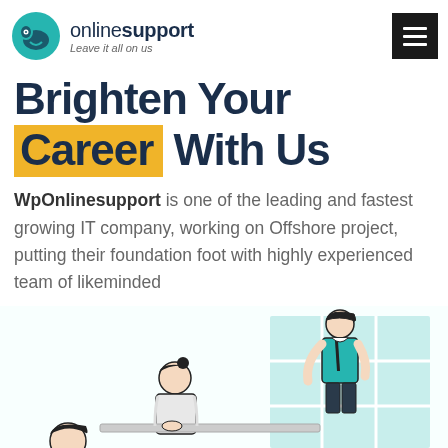onlinesupport — Leave it all on us
Brighten Your Career With Us
WpOnlinesupport is one of the leading and fastest growing IT company, working on Offshore project, putting their foundation foot with highly experienced team of likeminded
[Figure (illustration): Illustration of office workers collaborating, one person seated at a desk with another standing behind, in front of a window grid background, drawn in a line-art style with teal/green accents]